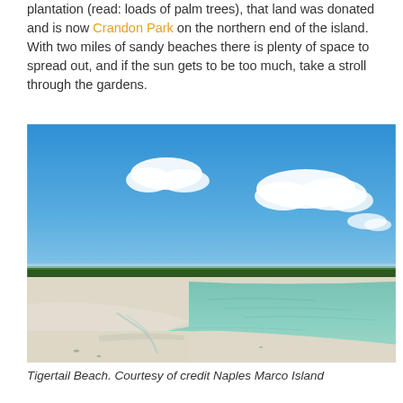plantation (read: loads of palm trees), that land was donated and is now Crandon Park on the northern end of the island. With two miles of sandy beaches there is plenty of space to spread out, and if the sun gets to be too much, take a stroll through the gardens.
[Figure (photo): A beach scene with white sandy shore, calm turquoise-green water, blue sky with scattered white clouds, and distant tree line on the horizon. Tigertail Beach.]
Tigertail Beach. Courtesy of credit Naples Marco Island